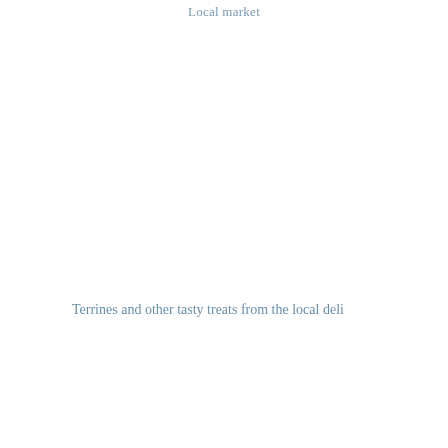Local market
Terrines and other tasty treats from the local deli